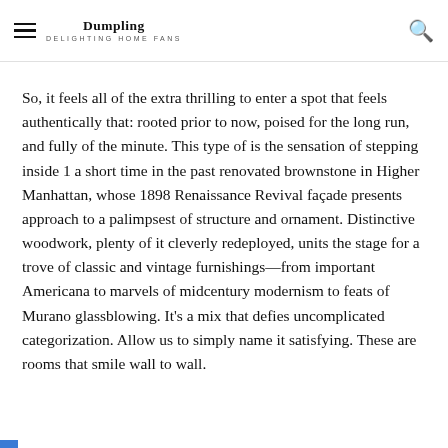Dumpling DELIGHTING HOME FANS
So, it feels all of the extra thrilling to enter a spot that feels authentically that: rooted prior to now, poised for the long run, and fully of the minute. This type of is the sensation of stepping inside 1 a short time in the past renovated brownstone in Higher Manhattan, whose 1898 Renaissance Revival façade presents approach to a palimpsest of structure and ornament. Distinctive woodwork, plenty of it cleverly redeployed, units the stage for a trove of classic and vintage furnishings—from important Americana to marvels of midcentury modernism to feats of Murano glassblowing. It's a mix that defies uncomplicated categorization. Allow us to simply name it satisfying. These are rooms that smile wall to wall.